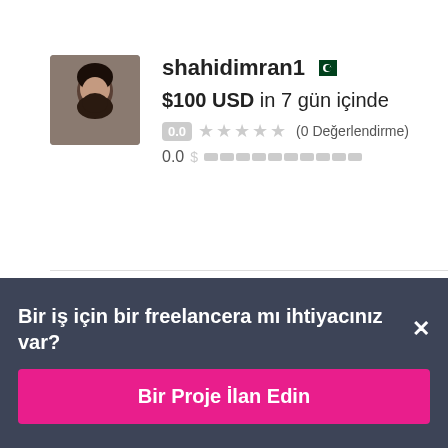[Figure (photo): Profile photo of shahidimran1, a man with a beard]
shahidimran1 🇵🇰
$100 USD in 7 gün içinde
0.0 ★★★★★ (0 Değerlendirme)
0.0 $ ▓▓▓▓▓▓▓▓▓▓
[Figure (photo): Partial profile photo of jiposadas]
jiposadas 🇲🇽
Bir iş için bir freelancera mı ihtiyacınız var? ×
Bir Proje İlan Edin